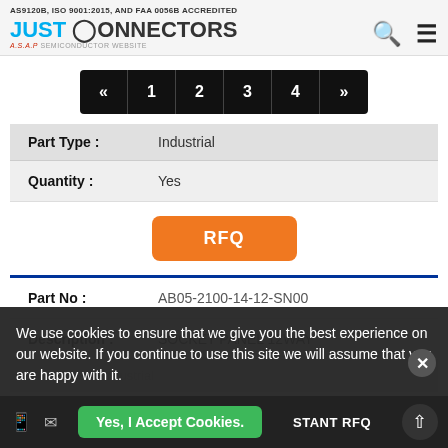AS9120B, ISO 9001:2015, AND FAA 0056B ACCREDITED
[Figure (logo): Just Connectors logo - AN A.S.A.P SEMICONDUCTOR WEBSITE]
« 1 2 3 4 »
| Field | Value |
| --- | --- |
| Part Type : | Industrial |
| Quantity : | Yes |
|  | RFQ |
| Part No : | AB05-2100-14-12-SN00 |
| Description : | SOCKET PANEL 12WAY |
| Part Type : | Industrial |
| Quantity : | Yes |
We use cookies to ensure that we give you the best experience on our website. If you continue to use this site we will assume that you are happy with it.